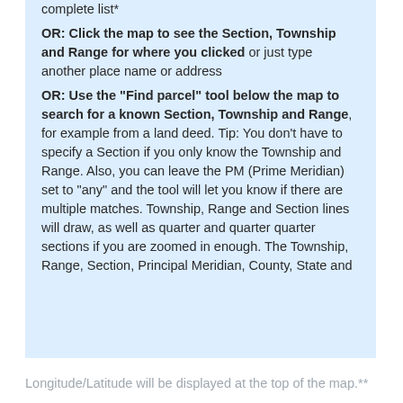complete list*
OR: Click the map to see the Section, Township and Range for where you clicked or just type another place name or address
OR: Use the “Find parcel” tool below the map to search for a known Section, Township and Range, for example from a land deed. Tip: You don’t have to specify a Section if you only know the Township and Range. Also, you can leave the PM (Prime Meridian) set to “any” and the tool will let you know if there are multiple matches. Township, Range and Section lines will draw, as well as quarter and quarter quarter sections if you are zoomed in enough. The Township, Range, Section, Principal Meridian, County, State and
Longitude/Latitude will be displayed at the top of the map.**